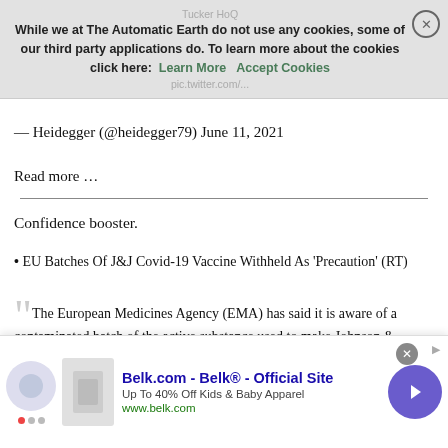While we at The Automatic Earth do not use any cookies, some of our third party applications do. To learn more about the cookies click here: Learn More   Accept Cookies
— Heidegger (@heidegger79) June 11, 2021
Read more …
Confidence booster.
EU Batches Of J&J Covid-19 Vaccine Withheld As 'Precaution' (RT)
The European Medicines Agency (EMA) has said it is aware of a contaminated batch of the active substance used to make Johnson & Johnson's Covid-19 vaccine and that they're taking precautionary action to prevent possible harm. In a press release on Friday, the
Belk.com - Belk® - Official Site
Up To 40% Off Kids & Baby Apparel
www.belk.com